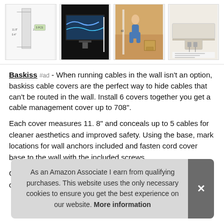[Figure (photo): Strip of 4 product thumbnail images: a cable cover dimension diagram, a TV mounted on wall with cable cover, a child near boxes with cable cover, and an under-desk cable management photo.]
Baskiss #ad - When running cables in the wall isn't an option, baskiss cable covers are the perfect way to hide cables that can't be routed in the wall. Install 6 covers together you get a cable management cover up to 708".
Each cover measures 11. 8" and conceals up to 5 cables for cleaner aesthetics and improved safety. Using the base, mark locations for wall anchors included and fasten cord cover base to the wall with the included screws.
Con cov
As an Amazon Associate I earn from qualifying purchases. This website uses the only necessary cookies to ensure you get the best experience on our website. More information